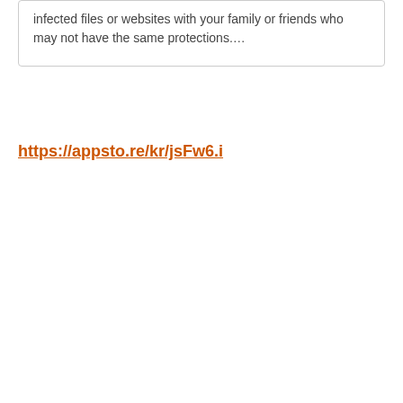infected files or websites with your family or friends who may not have the same protections….
https://appsto.re/kr/jsFw6.i